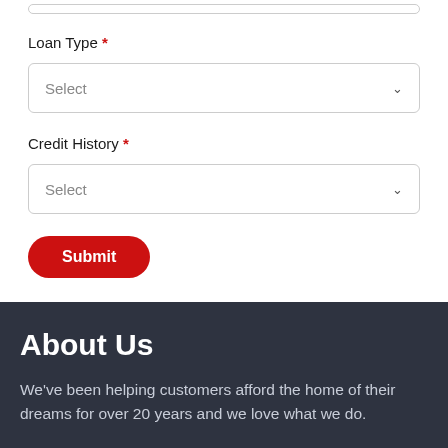Loan Type *
Select
Credit History *
Select
Submit
About Us
We've been helping customers afford the home of their dreams for over 20 years and we love what we do.